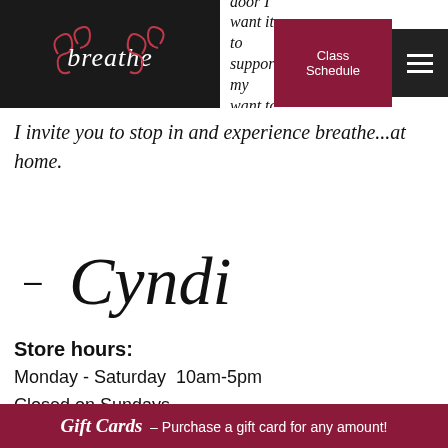[Figure (logo): Breathe logo - white text on black background with decorative swirl motifs]
k in the door I want it to support my want to feel.
I invite you to stop in and experience breathe...at home.
[Figure (illustration): Handwritten cursive signature reading '- Cyndi']
Store hours:
Monday - Saturday  10am-5pm
Closed on Sundays
33 South Main Street in Pittsford...
Gift Cards - Purchase a gift card for any amount!